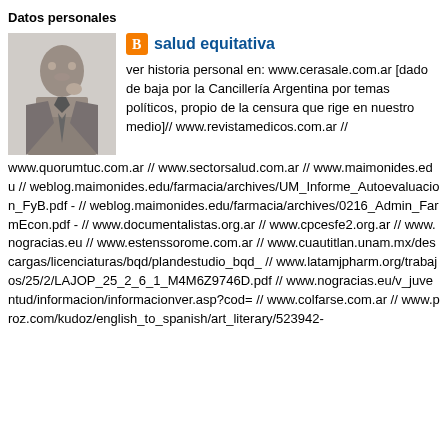Datos personales
[Figure (photo): Profile photo of a man in a suit, black and white image]
salud equitativa
ver historia personal en: www.cerasale.com.ar [dado de baja por la Cancillería Argentina por temas políticos, propio de la censura que rige en nuestro medio]// www.revistamedicos.com.ar // www.quorumtuc.com.ar // www.sectorsalud.com.ar // www.maimonides.edu // weblog.maimonides.edu/farmacia/archives/UM_Informe_Autoevaluacion_FyB.pdf - // weblog.maimonides.edu/farmacia/archives/0216_Admin_FarmEcon.pdf - // www.documentalistas.org.ar // www.cpcesfe2.org.ar // www.nogracias.eu // www.estenssorome.com.ar // www.cuautitlan.unam.mx/descargas/licenciaturas/bqd/plandestudio_bqd_ // www.latamjpharm.org/trabajos/25/2/LAJOP_25_2_6_1_M4M6Z9746D.pdf // www.nogracias.eu/v_juventud/informacion/informacionver.asp?cod= // www.colfarse.com.ar // www.proz.com/kudoz/english_to_spanish/art_literary/523942-